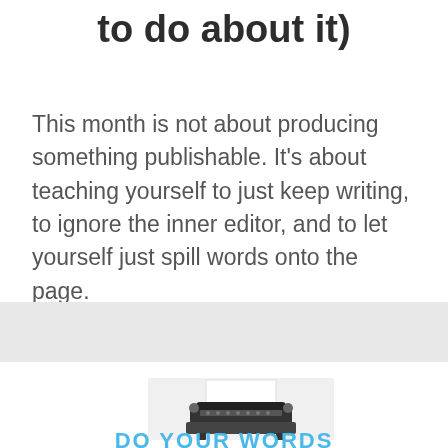to do about it)
This month is not about producing something publishable. It's about teaching yourself to just keep writing, to ignore the inner editor, and to let yourself just spill words onto the page.
[Figure (photo): A vintage typewriter with paper loaded, photographed from above on a light gray background. Below it text reads 'DO YOUR WORDS' in bold blue letters.]